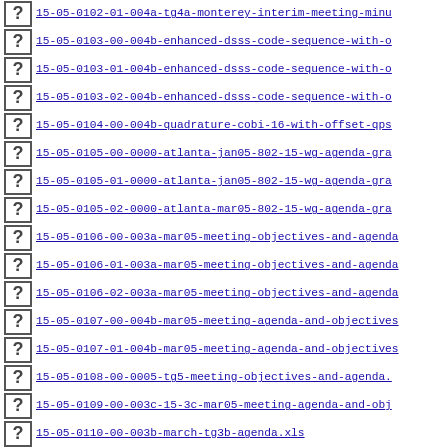15-05-0102-01-004a-tg4a-monterey-interim-meeting-minu
15-05-0103-00-004b-enhanced-dsss-code-sequence-with-o
15-05-0103-01-004b-enhanced-dsss-code-sequence-with-o
15-05-0103-02-004b-enhanced-dsss-code-sequence-with-o
15-05-0104-00-004b-quadrature-cobi-16-with-offset-qps
15-05-0105-00-0000-atlanta-jan05-802-15-wg-agenda-gra
15-05-0105-01-0000-atlanta-jan05-802-15-wg-agenda-gra
15-05-0105-02-0000-atlanta-mar05-802-15-wg-agenda-gra
15-05-0106-00-003a-mar05-meeting-objectives-and-agenda
15-05-0106-01-003a-mar05-meeting-objectives-and-agenda
15-05-0106-02-003a-mar05-meeting-objectives-and-agenda
15-05-0107-00-004b-mar05-meeting-agenda-and-objectives
15-05-0107-01-004b-mar05-meeting-agenda-and-objectives
15-05-0108-00-0005-tg5-meeting-objectives-and-agenda.
15-05-0109-00-003c-15-3c-mar05-meeting-agenda-and-obj
15-05-0110-00-003b-march-tg3b-agenda.xls
15-05-0110-01-003b-march-tg3b-agenda.xls
15-05-0111-00-003c-co-existence-60-ghz-window-links-a